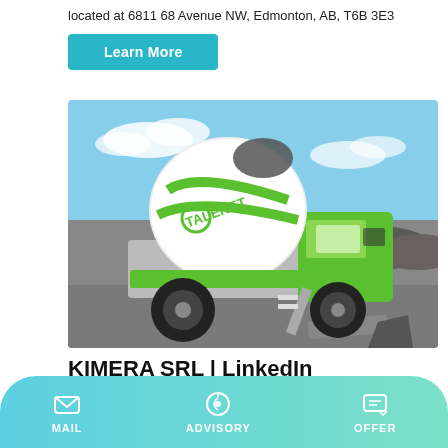located at 6811 68 Avenue NW, Edmonton, AB, T6B 3E3
Learn More
[Figure (photo): A green and white Talenet self-loading concrete mixer truck on a paved surface with a blue sky background.]
KIMERA SRL | LinkedIn
MAIL   ADVISORY   OFFER